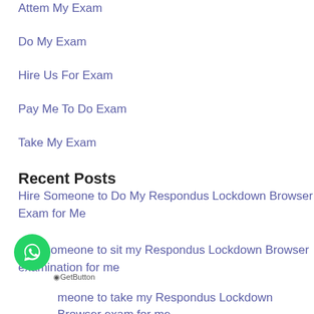Attem My Exam
Do My Exam
Hire Us For Exam
Pay Me To Do Exam
Take My Exam
Recent Posts
Hire Someone to Do My Respondus Lockdown Browser Exam for Me
Find someone to sit my Respondus Lockdown Browser examination for me
Pay someone to take my Respondus Lockdown Browser exam for me
Crack My ProctorU Exam